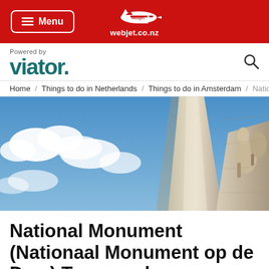Menu | webjet.co.nz
[Figure (logo): Viator logo with 'Powered by' text and search icon]
Home / Things to do in Netherlands / Things to do in Amsterdam / National M...
[Figure (photo): Looking up at the National Monument (Nationaal Monument op de Dam) obelisk against a blue cloudy sky, with stone sculptural figures visible on the right side]
National Monument (Nationaal Monument op de Dam) Tours and